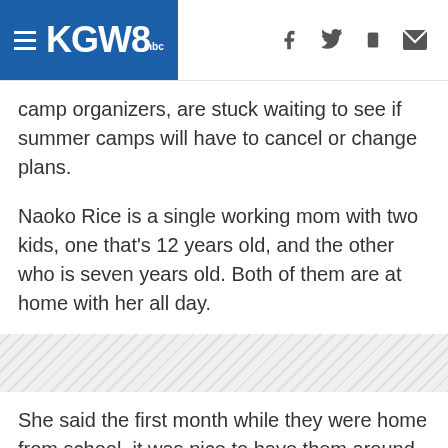KGW8
camp organizers, are stuck waiting to see if summer camps will have to cancel or change plans.
Naoko Rice is a single working mom with two kids, one that's 12 years old, and the other who is seven years old. Both of them are at home with her all day.
[Figure (other): Diagonal striped gray divider band]
She said the first month while they were home from school, it was nice to have them around all the time. But these days, things have gotten a bit challenging.
She said with summer almost here, she's unsure what her plans will be. Normally the kids would be in summer camp. But it's unclear if camp will still be on.